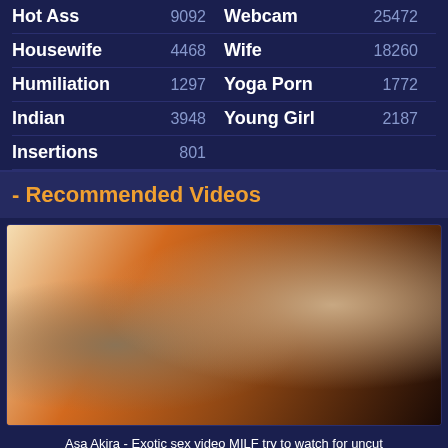Hot Ass 9092 | Webcam 25472
Housewife 4468 | Wife 18260
Humiliation 1297 | Yoga Porn 1772
Indian 3948 | Young Girl 2187
Insertions 801
- Recommended Videos
[Figure (photo): Thumbnail for Asa Akira - Exotic sex video MILF try to watch for uncut]
Asa Akira - Exotic sex video MILF try to watch for uncut
● Anal ● Asian ● Big Black Cock ● Interracial ● Milf
[Figure (photo): Second recommended video thumbnail]